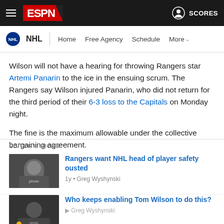ESPN NHL navigation header
Wilson will not have a hearing for throwing Rangers star Artemi Panarin to the ice in the ensuing scrum. The Rangers say Wilson injured Panarin, who did not return for the third period of their 6-3 loss to the Capitals on Monday night.
The fine is the maximum allowable under the collective bargaining agreement.
EDITOR'S PICKS
Rangers want NHL head of player safety ousted
1y • Greg Wyshynski
Who keeps enabling Tom Wilson to do this?